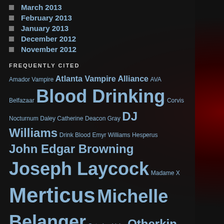March 2013
February 2013
January 2013
December 2012
November 2012
FREQUENTLY CITED
Amador Vampire Atlanta Vampire Alliance AVA Belfazaar Blood Drinking Corvis Nocturnum Daley Catherine Deacon Gray DJ Williams Drink Blood Emyr Williams Hesperus John Edgar Browning Joseph Laycock Madame X Merticus Michelle Belanger Octarine Valur Otherkin Psi Psychic Vampire Real Life Vampire Real Life Vampires Real Vampire Real Vampires Sang